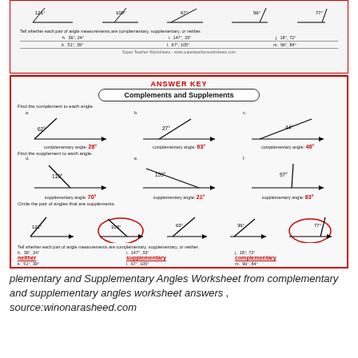[Figure (illustration): Top portion of a math worksheet showing angle diagrams (121°, 100°, 67°, 56°, 77°) and questions about complementary/supplementary angle pairs (h: 36°,24°; i: 147°,33°; j: 18°,72°; k: 51°,39°; l: 67°,105°; m: 96°,84°). Footer: Super Teacher Worksheets.]
ANSWER KEY
Complements and Supplements
Find the complement to each angle.
[Figure (illustration): Three angle diagrams for complementary angles: a (62°, complement 28°), b (27°, complement 63°), c (44°, complement 46°)]
Find the supplement to each angle.
[Figure (illustration): Three angle diagrams for supplementary angles: d (110°, supplement 70°), e (159°, supplement 21°), f (97°, supplement 83°)]
Circle the pair of angles that are supplements.
[Figure (illustration): Four angle pair diagrams: 121°, 103° (circled), 63°, 36°, 77° (circled). The supplementary pairs are circled in red.]
Tell whether each pair of angle measurements are complementary, supplementary, or neither.
|  | angles | answer |
| --- | --- | --- |
| h. | 36°, 24° | neither |
| i. | 147°, 33° | supplementary |
| j. | 18°, 72° | complementary |
| k. | 51°, 39° | complementary |
| l. | 67°, 105° | neither |
| m. | 96°, 84° | supplementary |
Super Teacher Worksheets - www.superteacherworksheets.com
plementary and Supplementary Angles Worksheet from complementary and supplementary angles worksheet answers , source:winonarasheed.com